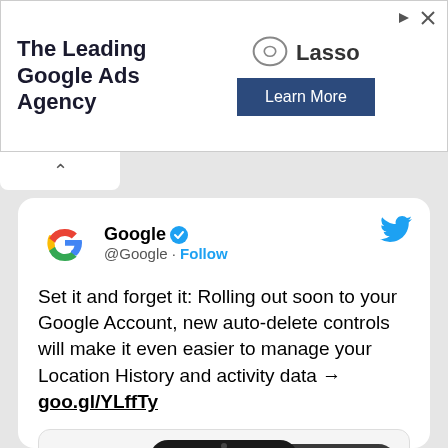[Figure (screenshot): Advertisement banner for Lasso Google Ads Agency with Learn More button]
[Figure (screenshot): Google Twitter/X post showing tweet about new auto-delete controls for Location History and activity data, with a phone mockup showing 'My Activity' screen]